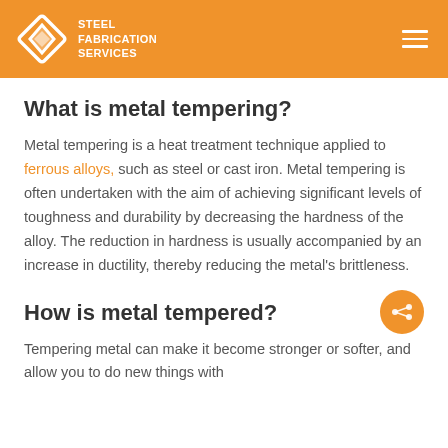STEEL FABRICATION SERVICES
What is metal tempering?
Metal tempering is a heat treatment technique applied to ferrous alloys, such as steel or cast iron. Metal tempering is often undertaken with the aim of achieving significant levels of toughness and durability by decreasing the hardness of the alloy. The reduction in hardness is usually accompanied by an increase in ductility, thereby reducing the metal's brittleness.
How is metal tempered?
Tempering metal can make it become stronger or softer, and allow you to do new things with